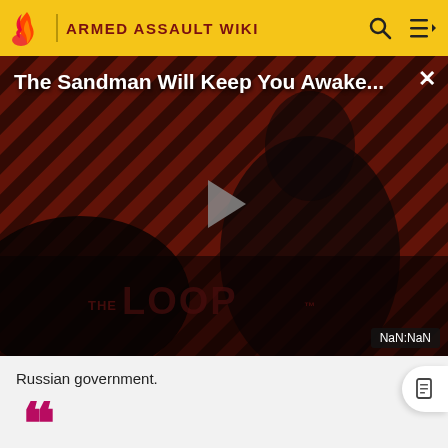ARMED ASSAULT WIKI
[Figure (screenshot): The Loop video player overlay showing 'The Sandman Will Keep You Awake...' title with a dark-themed figure in the background, diagonal stripe pattern, play button in center, THE LOOP logo at bottom, NaN:NaN timestamp, and X close button.]
Russian government.
Warning!